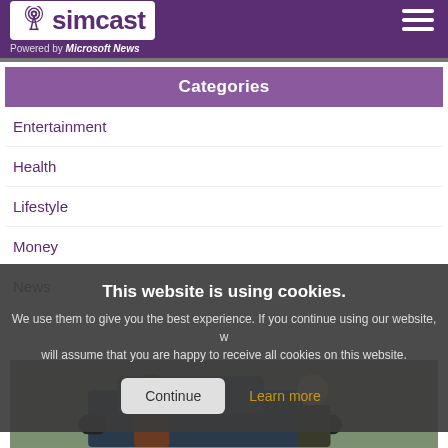simcast — Powered by Microsoft News
Categories
Entertainment
Health
Lifestyle
Money
News
This website is using cookies. We use them to give you the best experience. If you continue using our website, we will assume that you are happy to receive all cookies on this website.
[Figure (photo): Two men near a vehicle outdoors, one in a brown shirt and one in a police uniform]